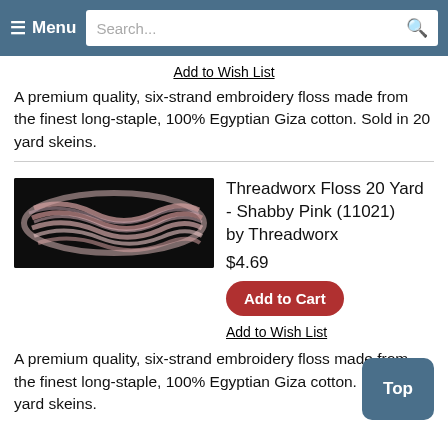Menu  Search...
Add to Wish List
A premium quality, six-strand embroidery floss made from the finest long-staple, 100% Egyptian Giza cotton. Sold in 20 yard skeins.
[Figure (photo): Photo of pink embroidery floss skein on black background]
Threadworx Floss 20 Yard - Shabby Pink (11021) by Threadworx
$4.69
Add to Cart
Add to Wish List
A premium quality, six-strand embroidery floss made from the finest long-staple, 100% Egyptian Giza cotton. Sold in 20 yard skeins.